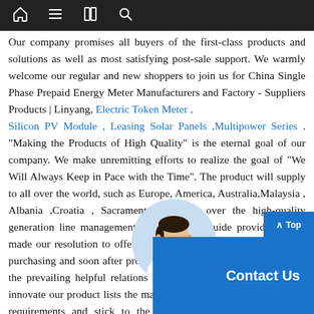[navigation bar with home, menu, book, and search icons]
Our company promises all buyers of the first-class products and solutions as well as most satisfying post-sale support. We warmly welcome our regular and new shoppers to join us for China Single Phase Prepaid Energy Meter Manufacturers and Factory - Suppliers Products | Linyang, Electric Token Meter , Silicon PV Module , Leasing Solar Panels ,Multipower Series . "Making the Products of High Quality" is the eternal goal of our company. We make unremitting efforts to realize the goal of "We Will Always Keep in Pace with the Time". The product will supply to all over the world, such as Europe, America, Australia,Malaysia , Albania ,Croatia , Sacramento .Insisting over the high-quality generation line management and prospects guide provider, we've made our resolution to offer our shoppers using the initially stage purchasing and soon after provider working experience. Preserving the prevailing helpful relations with our prospects, we even now innovate our product lists the many time to meet up with the brand requirements and stick to the latest trend of this business in Ahmedabad area and overcome area the difficulties and make the many from the possibilities in international trade.